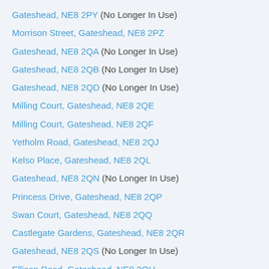Gateshead, NE8 2PY (No Longer In Use)
Morrison Street, Gateshead, NE8 2PZ
Gateshead, NE8 2QA (No Longer In Use)
Gateshead, NE8 2QB (No Longer In Use)
Gateshead, NE8 2QD (No Longer In Use)
Milling Court, Gateshead, NE8 2QE
Milling Court, Gateshead, NE8 2QF
Yetholm Road, Gateshead, NE8 2QJ
Kelso Place, Gateshead, NE8 2QL
Gateshead, NE8 2QN (No Longer In Use)
Princess Drive, Gateshead, NE8 2QP
Swan Court, Gateshead, NE8 2QQ
Castlegate Gardens, Gateshead, NE8 2QR
Gateshead, NE8 2QS (No Longer In Use)
Ellison Road, Gateshead, NE8 2QU